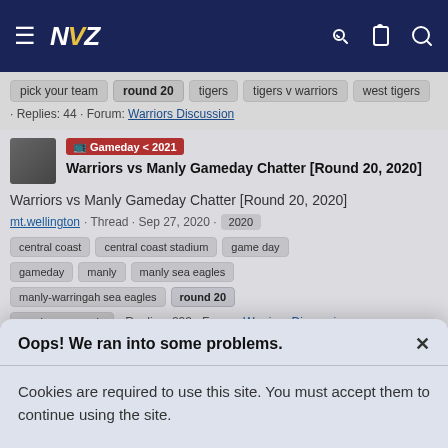≡ NVZ [navigation bar with key, clipboard, search icons]
pick your team · round 20 · tigers · tigers v warriors · west tigers · Replies: 44 · Forum: Warriors Discussion
[Figure (screenshot): Avatar thumbnail of a person]
Gameday < 2021 Warriors vs Manly Gameday Chatter [Round 20, 2020]
Warriors vs Manly Gameday Chatter [Round 20, 2020]
mt.wellington · Thread · Sep 27, 2020 · 2020 · central coast · central coast stadium · game day · gameday · manly · manly sea eagles · manly-warringah sea eagles · round 20 · warriors vs manly · Replies: 233 · Forum: Warriors Discussion
Oops! We ran into some problems.
Cookies are required to use this site. You must accept them to continue using the site.